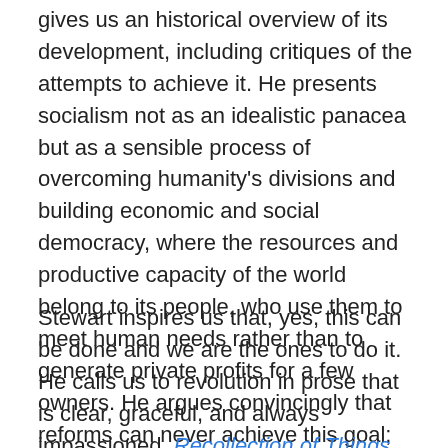gives us an historical overview of its development, including critiques of the attempts to achieve it. He presents socialism not as an idealistic panacea but as a sensible process of overcoming humanity's divisions and building economic and social democracy, where the resources and productive capacity of the world belong to its people, who use them to meet human needs rather than to generate private profits for a few owners. He argues convincingly that reforms can never achieve this goal; the system must be overthrown, and that requires revolution.
Stewart inspires us that, yes, this can be done and we are the ones to do it. He calls us to revolution in prose that is clear, graceful, and always impassioned. Recollection of Things Learned is an excellent guide to understanding our times … and changing them.